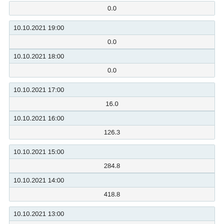| 0.0 |
| 10.10.2021 19:00 |
| 0.0 |
| 10.10.2021 18:00 |
| 0.0 |
| 10.10.2021 17:00 |
| 16.0 |
| 10.10.2021 16:00 |
| 126.3 |
| 10.10.2021 15:00 |
| 284.8 |
| 10.10.2021 14:00 |
| 418.8 |
| 10.10.2021 13:00 |
| 518.7 |